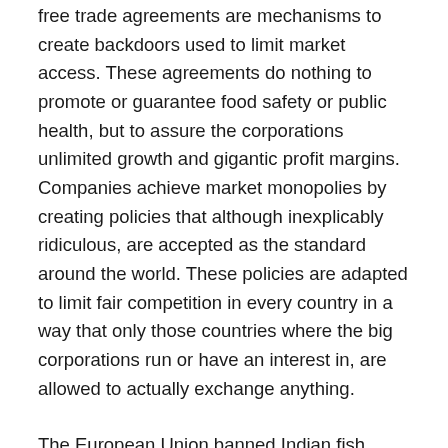free trade agreements are mechanisms to create backdoors used to limit market access. These agreements do nothing to promote or guarantee food safety or public health, but to assure the corporations unlimited growth and gigantic profit margins. Companies achieve market monopolies by creating policies that although inexplicably ridiculous, are accepted as the standard around the world. These policies are adapted to limit fair competition in every country in a way that only those countries where the big corporations run or have an interest in, are allowed to actually exchange anything.
The European Union banned Indian fish imports because the producers did not comply with European rules such as that fish processing facilities had to be sanitized with potable water, even though India lacks the infrastructure to provide clean water to most of its population. In Tanzania,